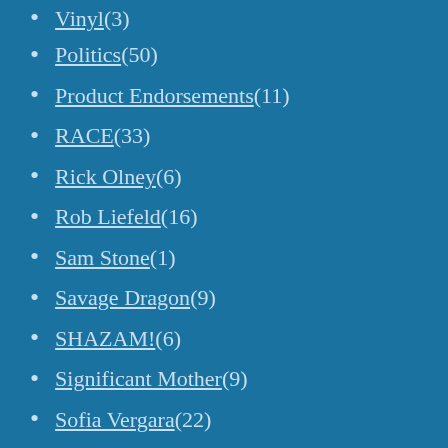Vinyl (3)
Politics (50)
Product Endorsements (11)
RACE (33)
Rick Olney (6)
Rob Liefeld (16)
Sam Stone (1)
Savage Dragon (9)
SHAZAM! (6)
Significant Mother (9)
Sofia Vergara (22)
Sports (14)
Stacy Clark (6)
Star Trek (8)
Superhero Crossovers (4)
SUPERMAN (57)
Supreme (22)